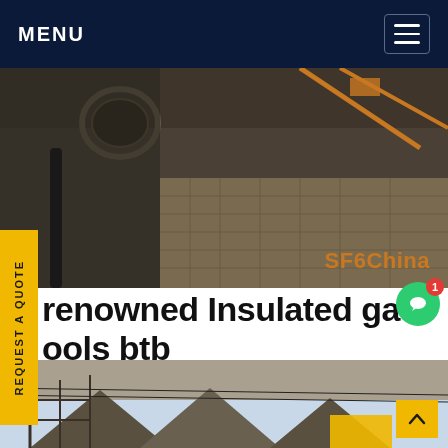MENU
[Figure (photo): Aerial/overhead view of a construction or industrial site with dark surfaces, pipes and equipment visible. SF6China label in orange at bottom right.]
renowned Insulated gas ools btb
MM Kembla brand is renowned for producing highest quality Kembla Copper Medical Gas e for medical gas supply, medical suction and supply to surgical tools Get price
[Figure (photo): Construction scaffolding and rooftops photo at the bottom of the page.]